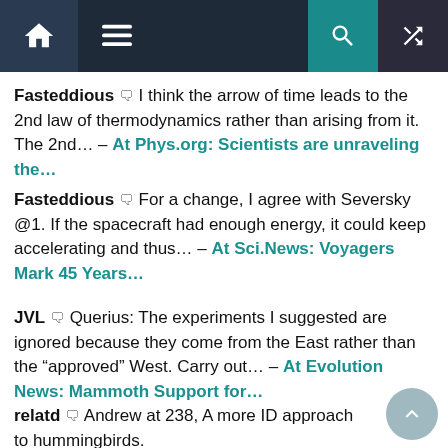Navigation bar with home, menu, search, and shuffle icons
Fasteddious 💬 I think the arrow of time leads to the 2nd law of thermodynamics rather than arising from it. The 2nd... – At Phys.org: Scientists are unraveling the...
Fasteddious 💬 For a change, I agree with Seversky @1. If the spacecraft had enough energy, it could keep accelerating and thus... – At Sci.News: Voyagers Mark 45 Years...
JVL 💬 Querius: The experiments I suggested are ignored because they come from the East rather than the "approved" West. Carry out... – At Evolution News: Mammoth Support for...
relatd 💬 Andrew at 238, A more ID approach to hummingbirds.